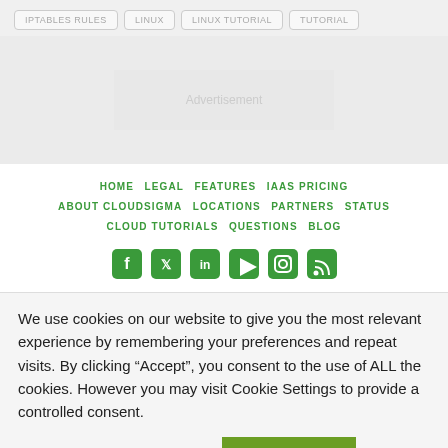IPTABLES RULES
LINUX
LINUX TUTORIAL
TUTORIAL
[Figure (other): Advertisement or blank content area]
HOME  LEGAL  FEATURES  IAAS PRICING  ABOUT CLOUDSIGMA  LOCATIONS  PARTNERS  STATUS  CLOUD TUTORIALS  QUESTIONS  BLOG
[Figure (other): Social media icons: Facebook, Twitter, LinkedIn, YouTube, Instagram, RSS]
We use cookies on our website to give you the most relevant experience by remembering your preferences and repeat visits. By clicking “Accept”, you consent to the use of ALL the cookies. However you may visit Cookie Settings to provide a controlled consent.
Cookie settings
ACCEPT